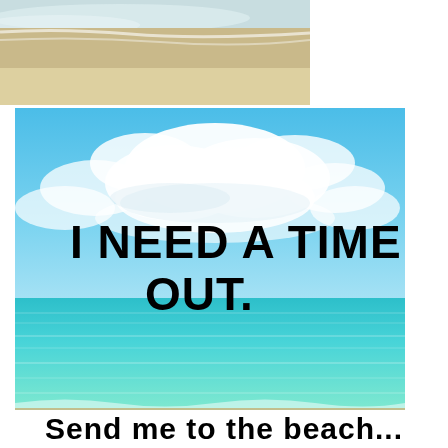[Figure (photo): Top portion: partial photo of a sandy beach with white foamy water at the top left corner, white background to the right. Below: a large beach scene image with bright blue sky, white fluffy clouds, and turquoise/aqua ocean water meeting a sandy shore. Overlaid bold black text reads 'I NEED A TIME OUT.' At the very bottom partially cropped bold black text begins.]